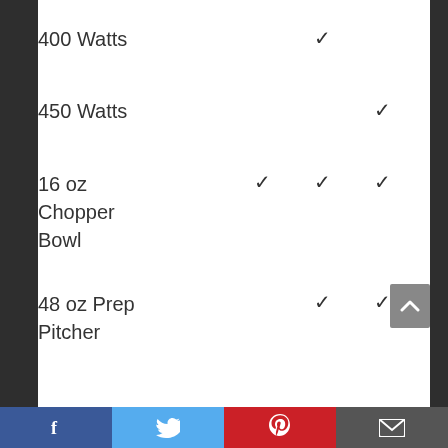| Feature | Col1 | Col2 | Col3 |
| --- | --- | --- | --- |
| 400 Watts |  | ✓ |  |
| 450 Watts |  |  | ✓ |
| 16 oz
Chopper
Bowl | ✓ | ✓ | ✓ |
| 48 oz Prep
Pitcher |  | ✓ | ✓ |
Facebook | Twitter | Pinterest | Email